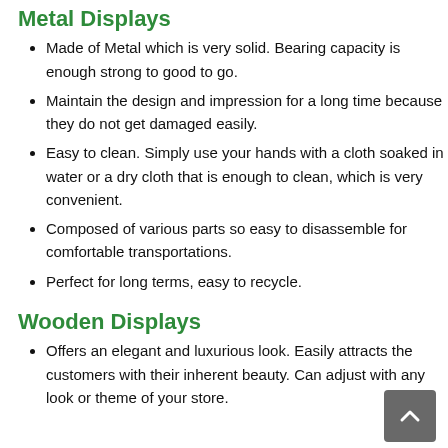Metal Displays
Made of Metal which is very solid. Bearing capacity is enough strong to good to go.
Maintain the design and impression for a long time because they do not get damaged easily.
Easy to clean. Simply use your hands with a cloth soaked in water or a dry cloth that is enough to clean, which is very convenient.
Composed of various parts so easy to disassemble for comfortable transportations.
Perfect for long terms, easy to recycle.
Wooden Displays
Offers an elegant and luxurious look. Easily attracts the customers with their inherent beauty. Can adjust with any look or theme of your store.